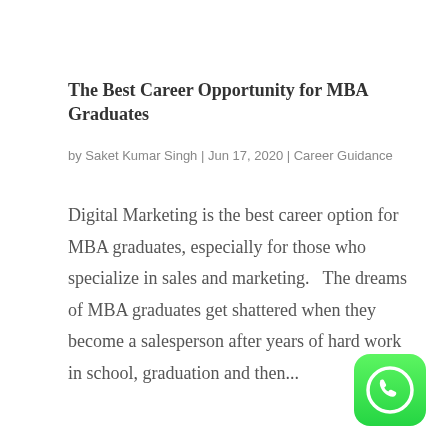The Best Career Opportunity for MBA Graduates
by Saket Kumar Singh | Jun 17, 2020 | Career Guidance
Digital Marketing is the best career option for MBA graduates, especially for those who specialize in sales and marketing.   The dreams of MBA graduates get shattered when they become a salesperson after years of hard work in school, graduation and then...
[Figure (logo): WhatsApp logo icon - green rounded square with white phone handset silhouette]